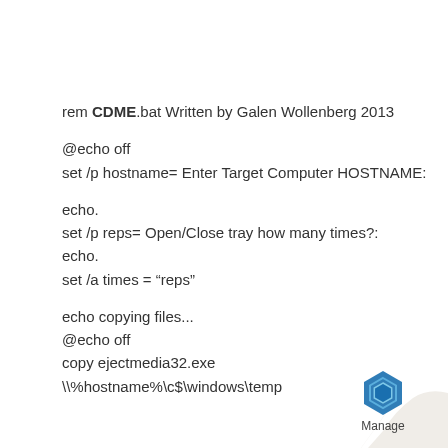rem CDME.bat Written by Galen Wollenberg 2013

@echo off
set /p hostname= Enter Target Computer HOSTNAME:

echo.
set /p reps= Open/Close tray how many times?:
echo.
set /a times = "reps"

echo copying files...
@echo off
copy ejectmedia32.exe
\%hostname%\c$\windows\temp
[Figure (logo): Page corner curl effect with a blue hexagonal logo icon and the word 'Manage' below it]